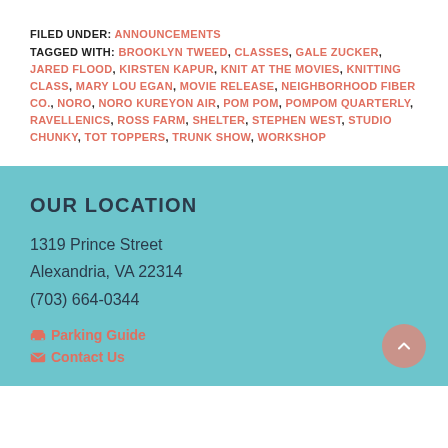FILED UNDER: ANNOUNCEMENTS
TAGGED WITH: BROOKLYN TWEED, CLASSES, GALE ZUCKER, JARED FLOOD, KIRSTEN KAPUR, KNIT AT THE MOVIES, KNITTING CLASS, MARY LOU EGAN, MOVIE RELEASE, NEIGHBORHOOD FIBER CO., NORO, NORO KUREYON AIR, POM POM, POMPOM QUARTERLY, RAVELLENICS, ROSS FARM, SHELTER, STEPHEN WEST, STUDIO CHUNKY, TOT TOPPERS, TRUNK SHOW, WORKSHOP
OUR LOCATION
1319 Prince Street
Alexandria, VA 22314
(703) 664-0344
Parking Guide
Contact Us